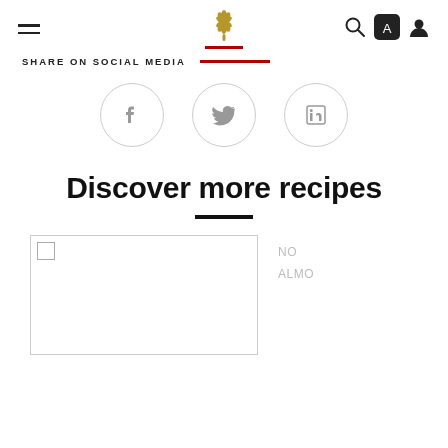Navigation header with hamburger menu, logo, search, app store and user icons
SHARE ON SOCIAL MEDIA
[Figure (illustration): Three circular social media share buttons: Facebook, Twitter, LinkedIn]
Discover more recipes
[Figure (other): Recipe card placeholder with checkbox, and partially visible second card with text 'NO' and 'ALMO']